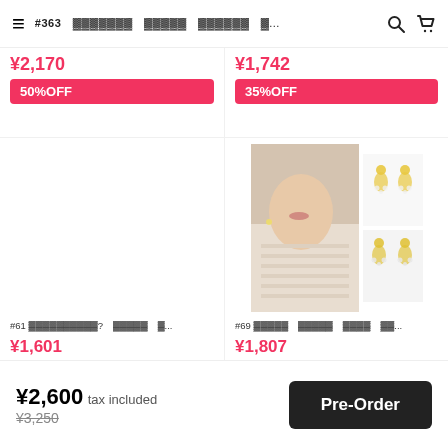#363 [Japanese text] [Japanese text] [Japanese text] [Japanese text]...
¥2,170 — 50%OFF
¥1,742 — 35%OFF
[Figure (photo): Woman wearing earrings with scarf, close-up face/neck shot]
[Figure (photo): Gold crystal fan-shaped earring product shots (2 views)]
#61 [Japanese text]? [Japanese text] [Japanese]... ¥1,601 45%OFF
#69 [Japanese text] [Japanese text] [Japanese text] [Japanese]... ¥1,807 35%OFF
¥2,600 tax included
¥3,250
Pre-Order